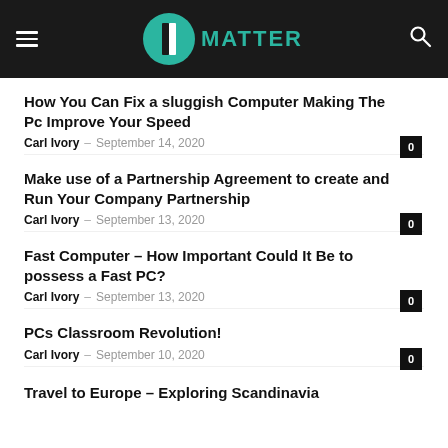MATTER
How You Can Fix a sluggish Computer Making The Pc Improve Your Speed
Carl Ivory - September 14, 2020  0
Make use of a Partnership Agreement to create and Run Your Company Partnership
Carl Ivory - September 13, 2020  0
Fast Computer – How Important Could It Be to possess a Fast PC?
Carl Ivory - September 13, 2020  0
PCs Classroom Revolution!
Carl Ivory - September 10, 2020  0
Travel to Europe – Exploring Scandinavia